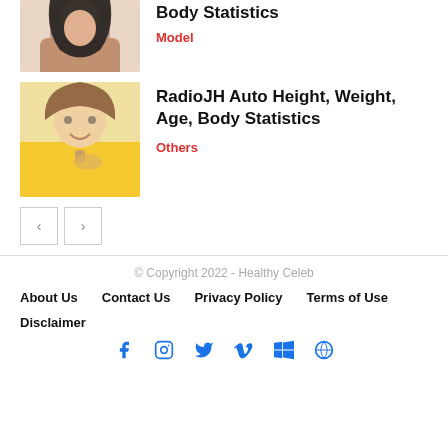[Figure (photo): Partial view of a woman with long dark hair, cropped at top of page]
Body Statistics
Model
[Figure (photo): Young child in yellow shirt eating from a spoon]
RadioJH Auto Height, Weight, Age, Body Statistics
Others
© Copyright 2022 - Healthy Celeb
About Us
Contact Us
Privacy Policy
Terms of Use
Disclaimer